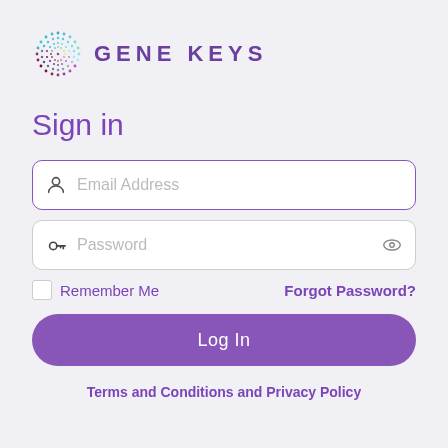[Figure (logo): Gene Keys logo: circular dot pattern in teal/yellow/purple gradient next to text 'GENE KEYS' in purple]
Sign in
[Figure (screenshot): Email Address input field with user icon and purple border]
[Figure (screenshot): Password input field with key icon and eye icon]
Remember Me
Forgot Password?
Log In
Terms and Conditions and Privacy Policy